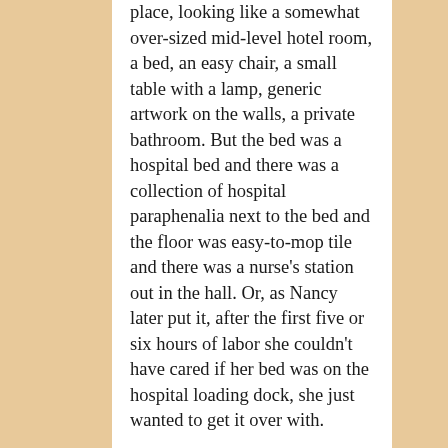place, looking like a somewhat over-sized mid-level hotel room, a bed, an easy chair, a small table with a lamp, generic artwork on the walls, a private bathroom. But the bed was a hospital bed and there was a collection of hospital paraphenalia next to the bed and the floor was easy-to-mop tile and there was a nurse's station out in the hall. Or, as Nancy later put it, after the first five or six hours of labor she couldn't have cared if her bed was on the hospital loading dock, she just wanted to get it over with.
In our Lamaze classes we had been told to pack some snacks to bring to the hospital. We had packed a number of lolipops but no food. This was an oversight I would come to regret. After we had been in the birthing room an hour or two the nurses brought in breakfast trays for both of us. Nancy did not want any breakfast, take it away, take it all away... she did not want me to eat in front of her but she did not want me to leave the room long enough to eat in the hallway either. As the day went on she rejected lunch and dinner for herself and also the offer of food for me... so I